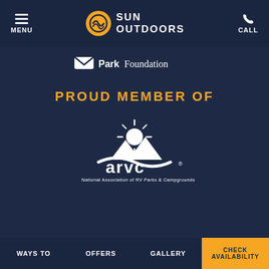MENU  SUN OUTDOORS  CALL
[Figure (logo): Park Foundation logo with envelope/M icon and text 'Park Foundation']
PROUD MEMBER OF
[Figure (logo): ARVC National Association of RV Parks & Campgrounds logo with sun and mountains design]
Our site uses cookies.
By continuing to use our site you are agreeing to our cookie policy.

ACCEPT & CLOSE
nts reserved.
Emergency Updates
WAYS TO  OFFERS  GALLERY  CHECK AVAILABILITY